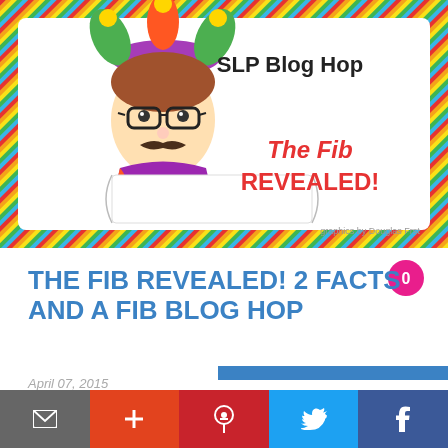[Figure (illustration): SLP Blog Hop banner with colorful diagonal striped border, jester/clown cartoon character wearing glasses and a fool's hat, text reading 'SLP Blog Hop' and 'The Fib REVEALED!' in red, 'graphics by Douglas Frst' watermark]
THE FIB REVEALED! 2 FACTS AND A FIB BLOG HOP
April 07, 2015
[Figure (infographic): Share bar with email, Google+, Pinterest, Twitter, and Facebook icons]